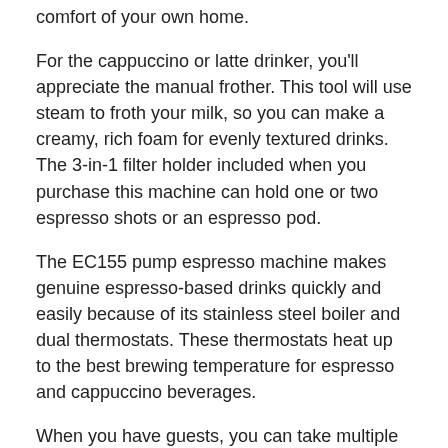comfort of your own home.
For the cappuccino or latte drinker, you'll appreciate the manual frother. This tool will use steam to froth your milk, so you can make a creamy, rich foam for evenly textured drinks. The 3-in-1 filter holder included when you purchase this machine can hold one or two espresso shots or an espresso pod.
The EC155 pump espresso machine makes genuine espresso-based drinks quickly and easily because of its stainless steel boiler and dual thermostats. These thermostats heat up to the best brewing temperature for espresso and cappuccino beverages.
When you have guests, you can take multiple coffee orders simultaneously thanks to this machine's advanced cappuccino system, which maintains optimal temperature, so you can make one cup after the other without needing to wait for it to cool down.
You don't have to worry about complicated clean-up with